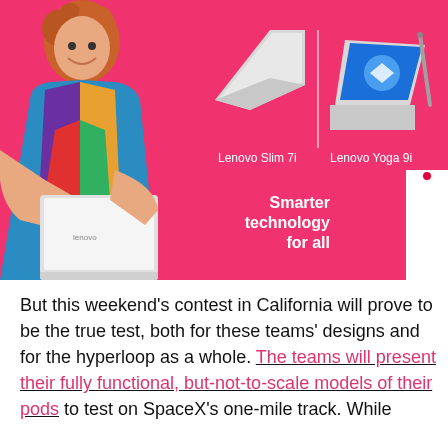[Figure (photo): Lenovo advertisement banner with pink/magenta background. A smiling woman with curly red hair wearing a colorful top holds a white Lenovo laptop on the left side. In the center-right area, two laptop products are shown: a silver Lenovo Slim 7i (open, slim profile) on the left and a Lenovo Yoga 9i (open, with stylus) on the right, separated by a vertical line. Product labels read 'Lenovo Slim 7i' and 'Lenovo Yoga 9i'. Bottom right shows bold white text 'Smarter technology for all' and a white Lenovo logo box on the far right edge.]
But this weekend's contest in California will prove to be the true test, both for these teams' designs and for the hyperloop as a whole. The teams will present their fully functional, but-not-to-scale models of their pods to test on SpaceX's one-mile track. While